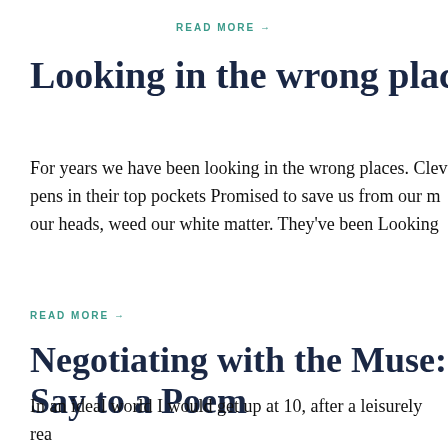READ MORE →
Looking in the wrong place
For years we have been looking in the wrong places. Clev... pens in their top pockets Promised to save us from our m... our heads, weed our white matter. They've been Looking
READ MORE →
Negotiating with the Muse: Say to a Poem
In an ideal world I would get up at 10, after a leisurely rea... journal as I read. Then after a lingering bath, I would pai...